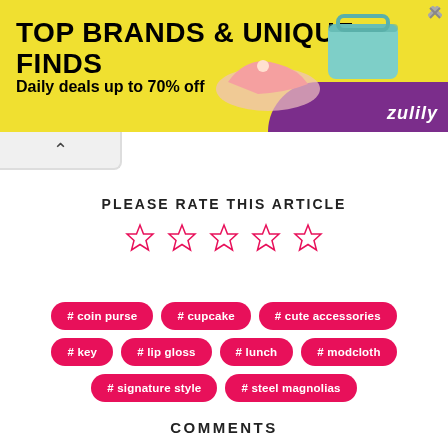[Figure (infographic): Zulily advertisement banner with yellow background, text 'TOP BRANDS & UNIQUE FINDS', 'Daily deals up to 70% off', purple corner with Zulily logo, and product images of shoes and handbag]
PLEASE RATE THIS ARTICLE
[Figure (infographic): Five empty pink star rating icons]
# coin purse
# cupcake
# cute accessories
# key
# lip gloss
# lunch
# modcloth
# signature style
# steel magnolias
COMMENTS